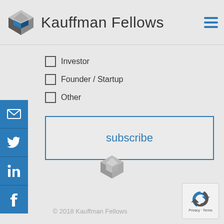Kauffman Fellows
Investor
Founder / Startup
Other
subscribe
[Figure (logo): Kauffman Fellows grey logo icon]
© 2018 Kauffman Fellows